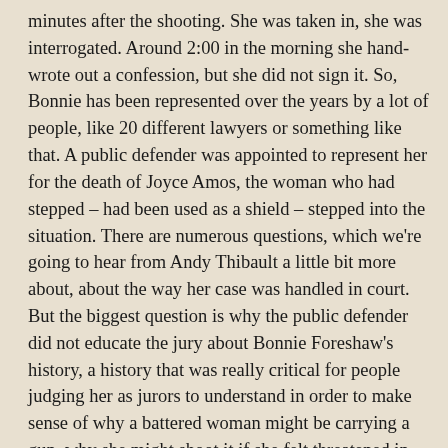minutes after the shooting. She was taken in, she was interrogated. Around 2:00 in the morning she hand-wrote out a confession, but she did not sign it. So, Bonnie has been represented over the years by a lot of people, like 20 different lawyers or something like that. A public defender was appointed to represent her for the death of Joyce Amos, the woman who had stepped – had been used as a shield – stepped into the situation. There are numerous questions, which we're going to hear from Andy Thibault a little bit more about, about the way her case was handled in court. But the biggest question is why the public defender did not educate the jury about Bonnie Foreshaw's history, a history that was really critical for people judging her as jurors to understand in order to make sense of why a battered woman might be carrying a gun, why she might shoot it if she felt threatened in self-defense. None of that was part of the trial. Instead, the jury found her guilty. She was given at the time, as you said, believed to be the longest sentence ever imposed in Connecticut's history on a woman, a 45-year prison sentence. And so she has been incarcerated since then. She was 38 when she was arrested. She's going to be I think 66 later this month. She's been behind bars for more than 27